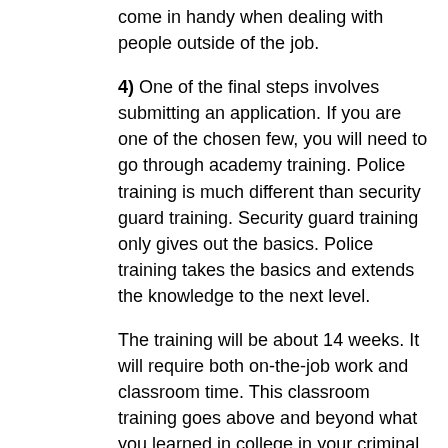come in handy when dealing with people outside of the job.
4) One of the final steps involves submitting an application. If you are one of the chosen few, you will need to go through academy training. Police training is much different than security guard training. Security guard training only gives out the basics. Police training takes the basics and extends the knowledge to the next level.
The training will be about 14 weeks. It will require both on-the-job work and classroom time. This classroom training goes above and beyond what you learned in college in your criminal justice or police science class.
SOME FINAL WORDS
Once you have done all of this, you are just beginning. You will have to participate in ongoing education. You will also need to push yourself out on the field. The best